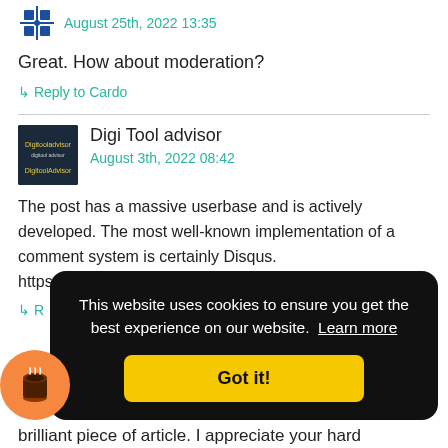August 25th, 2022 13:35
Great. How about moderation?
↳ Reply to Cardo
Digi Tool advisor
August 3th, 2022 08:42
The post has a massive userbase and is actively developed. The most well-known implementation of a comment system is certainly Disqus. https://digitooladvisor.com/
↳ R
This website uses cookies to ensure you get the best experience on our website.  Learn more
Got it!
brilliant piece of article. I appreciate your hard